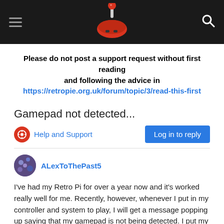[Figure (logo): RetroPie forum header with hamburger menu, red joystick logo, and search icon on dark background]
Please do not post a support request without first reading and following the advice in
https://retropie.org.uk/forum/topic/3/read-this-first
Gamepad not detected...
Help and Support
Log in to reply
ALexToThePast5
I've had my Retro Pi for over a year now and it's worked really well for me. Recently, however, whenever I put in my controller and system to play, I will get a message popping up saying that my gamepad is not being detected. I put my controller into each of the four ports on the side and pressed the button for a long time for each port. I didn't get anything. I got out my keyboard and pressed